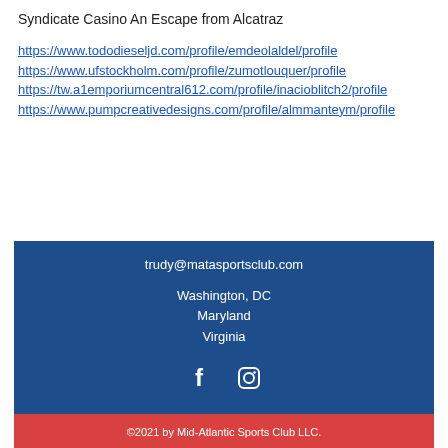Syndicate Casino An Escape from Alcatraz
https://www.tododieseljd.com/profile/emdeolaldel/profile
https://www.ufstockholm.com/profile/zumotlouquer/profile
https://tw.a1emporiumcentral612.com/profile/inacioblitch2/profile
https://www.pumpcreativedesigns.com/profile/almmanteym/profile
trudy@matasportsclub.com
Washington, DC
Maryland
Virginia
[Figure (other): Social media icons: Facebook and Instagram]
©2021 by Mid-Atlantic Sports Club LLC.